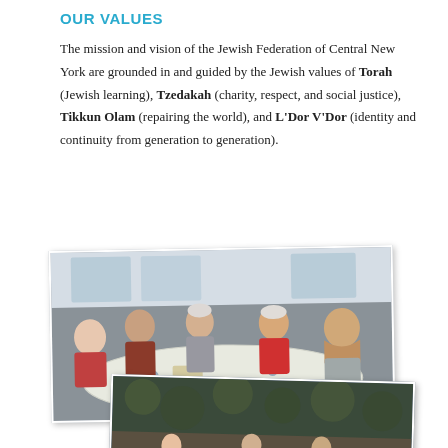OUR VALUES
The mission and vision of the Jewish Federation of Central New York are grounded in and guided by the Jewish values of Torah (Jewish learning), Tzedakah (charity, respect, and social justice), Tikkun Olam (repairing the world), and L'Dor V'Dor (identity and continuity from generation to generation).
[Figure (photo): A group of approximately five elderly people seated around a dining table with food and drinks. A second overlapping photo below shows a bird's-eye or outdoor scene with people.]